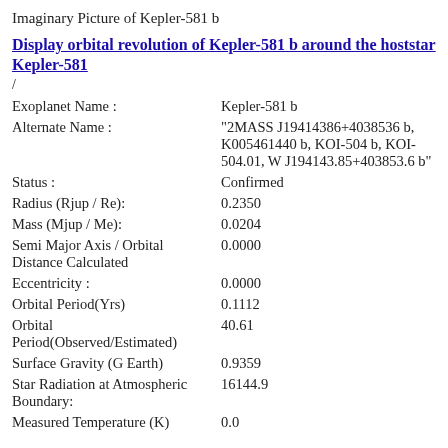Imaginary Picture of Kepler-581 b
Display orbital revolution of Kepler-581 b around the hoststar Kepler-581
/
| Field | Value |
| --- | --- |
| Exoplanet Name : | Kepler-581 b |
| Alternate Name : | "2MASS J19414386+4038536 b, K005461440 b, KOI-504 b, KOI-504.01, W J194143.85+403853.6 b" |
| Status : | Confirmed |
| Radius (Rjup / Re): | 0.2350 |
| Mass (Mjup / Me): | 0.0204 |
| Semi Major Axis / Orbital Distance Calculated | 0.0000 |
| Eccentricity : | 0.0000 |
| Orbital Period(Yrs) | 0.1112 |
| Orbital Period(Observed/Estimated) | 40.61 |
| Surface Gravity (G Earth) | 0.9359 |
| Star Radiation at Atmospheric Boundary: | 16144.9 |
| Measured Temperature (K) | 0.0 |